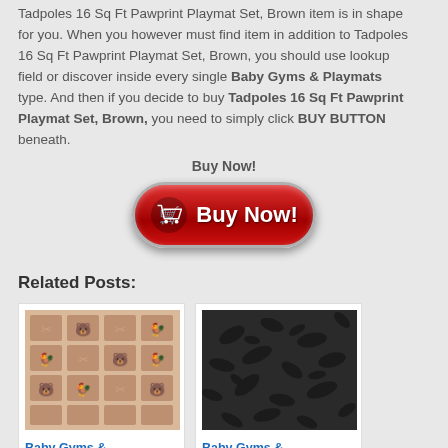Tadpoles 16 Sq Ft Pawprint Playmat Set, Brown item is in shape for you. When you however must find item in addition to Tadpoles 16 Sq Ft Pawprint Playmat Set, Brown, you should use lookup field or discover inside every single Baby Gyms & Playmats type. And then if you decide to buy Tadpoles 16 Sq Ft Pawprint Playmat Set, Brown, you need to simply click BUY BUTTON beneath.
Buy Now!
[Figure (other): Red glossy Buy Now button with shopping cart icon]
Related Posts:
[Figure (photo): Beige playmat with baby animal icons in a grid pattern]
Baby Gyms & Playmats –
[Figure (photo): Dark gray/black textured playmat with pawprint pattern]
Baby Gyms & Playmats –